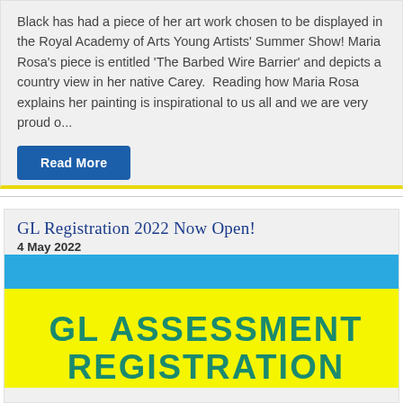Black has had a piece of her art work chosen to be displayed in the Royal Academy of Arts Young Artists' Summer Show! Maria Rosa's piece is entitled 'The Barbed Wire Barrier' and depicts a country view in her native Carey.  Reading how Maria Rosa explains her painting is inspirational to us all and we are very proud o...
Read More
GL Registration 2022 Now Open!
4 May 2022
[Figure (infographic): GL Assessment Registration banner with a blue top bar and yellow background with teal text reading 'GL ASSESSMENT REGISTRATION']